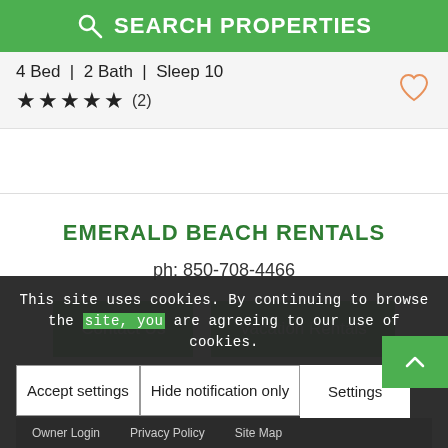SEARCH PROPERTIES
4 Bed  |  2 Bath  |  Sleep 10
★★★★★ (2)
EMERALD BEACH RENTALS
ph: 850-708-4466
Contact Us
Vacation Rentals
This site uses cookies. By continuing to browse the site, you are agreeing to our use of cookies.
Accept settings
Hide notification only
Settings
Owner Login   Privacy Policy   Site Map